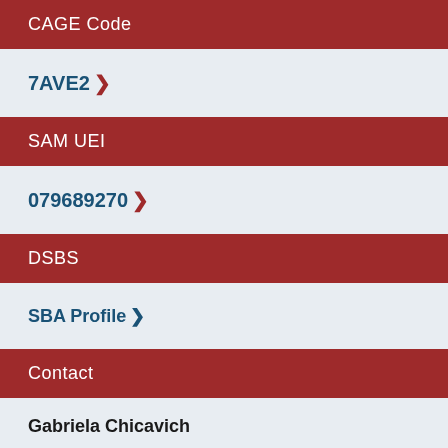CAGE Code
7AVE2 >
SAM UEI
079689270 >
DSBS
SBA Profile >
Contact
Gabriela Chicavich